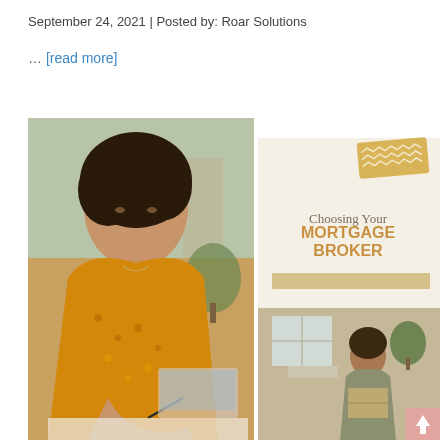September 24, 2021 | Posted by: Roar Solutions
… [read more]
[Figure (photo): Composite image: left side shows a woman with curly hair and glasses wearing an orange floral top, writing at a desk with a laptop. Right side shows a cream-colored infographic panel with zigzag gold tape decoration at top right, text 'Choosing Your MORTGAGE BROKER', a gold horizontal bar, and a secondary photo of a woman sitting with moving boxes. A pink square with an up-arrow is in the bottom right corner.]